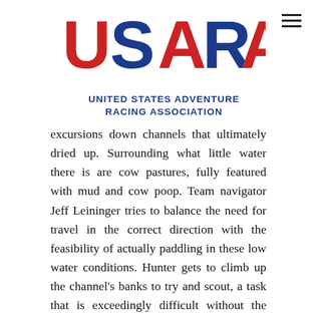[Figure (logo): USARA - United States Adventure Racing Association logo with red and blue stylized letters]
excursions down channels that ultimately dried up. Surrounding what little water there is are cow pastures, fully featured with mud and cow poop. Team navigator Jeff Leininger tries to balance the need for travel in the correct direction with the feasibility of actually paddling in these low water conditions. Hunter gets to climb up the channel's banks to try and scout, a task that is exceedingly difficult without the map that's in Jeff's possession. Teammate Katie Ferrington explains to the cameraperson what's going on in a way that's practiced from many years of managing intra-team... differences. She's a pro.
Team Flying J has reached the medical tent at CP 22 and Harald Zundel goes in for treatment on a deep gash in his